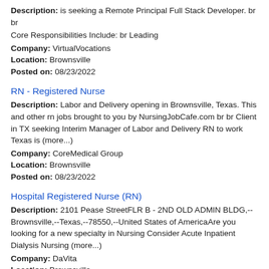Description: is seeking a Remote Principal Full Stack Developer. br br Core Responsibilities Include: br Leading
Company: VirtualVocations
Location: Brownsville
Posted on: 08/23/2022
RN - Registered Nurse
Description: Labor and Delivery opening in Brownsville, Texas. This and other rn jobs brought to you by NursingJobCafe.com br br Client in TX seeking Interim Manager of Labor and Delivery RN to work Texas is (more...)
Company: CoreMedical Group
Location: Brownsville
Posted on: 08/23/2022
Hospital Registered Nurse (RN)
Description: 2101 Pease StreetFLR B - 2ND OLD ADMIN BLDG,--Brownsville,--Texas,--78550,--United States of AmericaAre you looking for a new specialty in Nursing Consider Acute Inpatient Dialysis Nursing (more...)
Company: DaVita
Location: Brownsville
Posted on: 08/23/2022